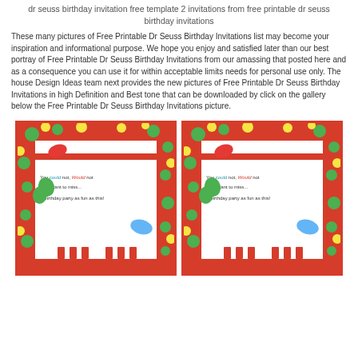dr seuss birthday invitation free template 2 invitations from free printable dr seuss birthday invitations
These many pictures of Free Printable Dr Seuss Birthday Invitations list may become your inspiration and informational purpose. We hope you enjoy and satisfied later than our best portray of Free Printable Dr Seuss Birthday Invitations from our amassing that posted here and as a consequence you can use it for within acceptable limits needs for personal use only. The house Design Ideas team next provides the new pictures of Free Printable Dr Seuss Birthday Invitations in high Definition and Best tone that can be downloaded by click on the gallery below the Free Printable Dr Seuss Birthday Invitations picture.
[Figure (illustration): Two Dr. Seuss birthday party invitation cards side by side. Each card has a red polka-dot border with green and yellow dots, a white center area, a red horizontal banner with Dr. Seuss characters (fish, Cat in the Hat, etc.) at the top, and text reading 'You could not, Would not want to miss... A birthday party as fun as this!' with red and white striped columns at the bottom.]